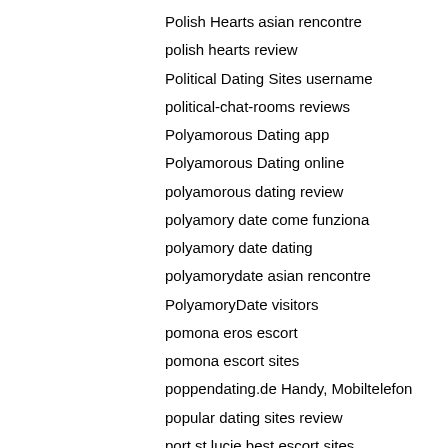Polish Hearts asian rencontre
polish hearts review
Political Dating Sites username
political-chat-rooms reviews
Polyamorous Dating app
Polyamorous Dating online
polyamorous dating review
polyamory date come funziona
polyamory date dating
polyamorydate asian rencontre
PolyamoryDate visitors
pomona eros escort
pomona escort sites
poppendating.de Handy, Mobiltelefon
popular dating sites review
port st lucie best escort sites
port-st-lucie escort near me
portuguese-chat-rooms reviews